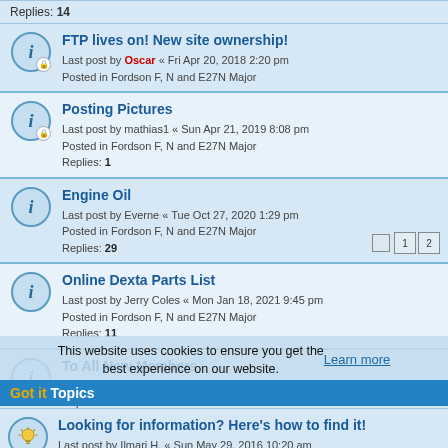Replies: 14
FTP lives on! New site ownership!
Last post by Oscar « Fri Apr 20, 2018 2:20 pm
Posted in Fordson F, N and E27N Major
Posting Pictures
Last post by mathias1 « Sun Apr 21, 2019 8:08 pm
Posted in Fordson F, N and E27N Major
Replies: 1
Engine Oil
Last post by Everne « Tue Oct 27, 2020 1:29 pm
Posted in Fordson F, N and E27N Major
Replies: 29
Online Dexta Parts List
Last post by Jerry Coles « Mon Jan 18, 2021 9:45 pm
Posted in Fordson F, N and E27N Major
Replies: 11
To All New Members
Last post by BearCreek Majors « Thu Feb 04, 2016 3:17 pm
Replies: 2
Wiki Shortcut, Home Page Link, Torque Settings.
Last post by Brian « Thu Oct 13, 2011 8:56 pm
Posted in Fordson F, N and E27N Major
Replies: 3
This website uses cookies to ensure you get the best experience on our website. Learn more
Got it   Topics
Looking for information? Here's how to find it!
Last post by Ilmari H. « Sun May 29, 2016 10:20 am
Replies: 1